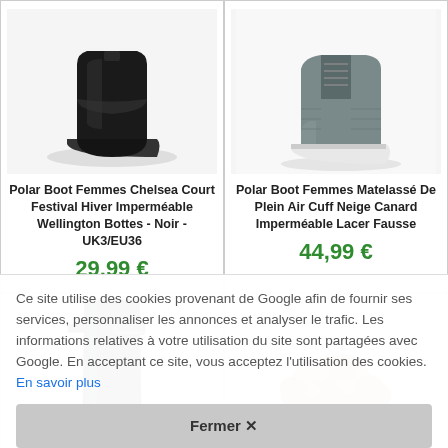[Figure (photo): Black leather chelsea ankle boot for women on white background]
Polar Boot Femmes Chelsea Court Festival Hiver Imperméable Wellington Bottes - Noir - UK3/EU36
29,99 €
[Figure (photo): Grey matelasse outdoor lace-up winter boot for women on white background]
Polar Boot Femmes Matelassé De Plein Air Cuff Neige Canard Imperméable Lacer Fausse
44,99 €
[Figure (photo): Tall dark navy rubber festival wellington boot]
[Figure (photo): Brown winter boot with fur trim and laces]
Ce site utilise des cookies provenant de Google afin de fournir ses services, personnaliser les annonces et analyser le trafic. Les informations relatives à votre utilisation du site sont partagées avec Google. En acceptant ce site, vous acceptez l'utilisation des cookies. En savoir plus
Fermer ✕